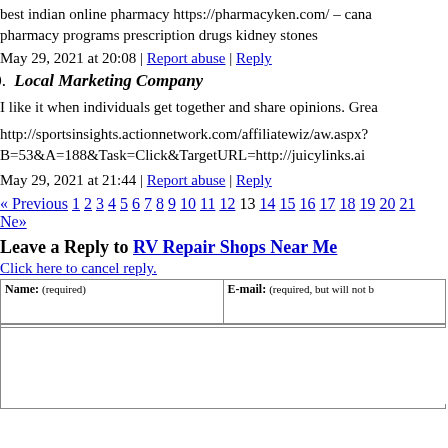best indian online pharmacy https://pharmacyken.com/ – canada pharmacy programs prescription drugs kidney stones
May 29, 2021 at 20:08 | Report abuse | Reply
50. Local Marketing Company
I like it when individuals get together and share opinions. Grea
http://sportsinsights.actionnetwork.com/affiliatewiz/aw.aspx? B=53&A=188&Task=Click&TargetURL=http://juicylinks.ai
May 29, 2021 at 21:44 | Report abuse | Reply
« Previous 1 2 3 4 5 6 7 8 9 10 11 12 13 14 15 16 17 18 19 20 21 Ne»
Leave a Reply to RV Repair Shops Near Me
Click here to cancel reply.
| Name: (required) | E-mail: (required, but will not be published) |
| --- | --- |
|  |  |